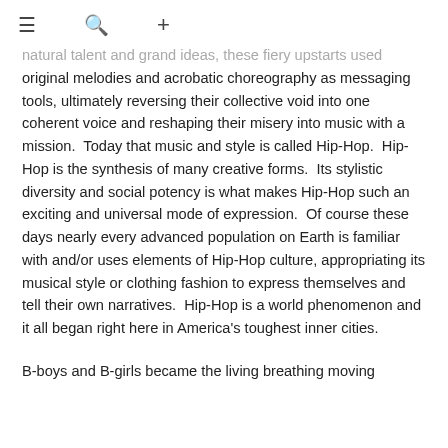≡  🔍  +
natural talent and grand ideas, these fiery upstarts used original melodies and acrobatic choreography as messaging tools, ultimately reversing their collective void into one coherent voice and reshaping their misery into music with a mission.  Today that music and style is called Hip-Hop.  Hip-Hop is the synthesis of many creative forms.  Its stylistic diversity and social potency is what makes Hip-Hop such an exciting and universal mode of expression.  Of course these days nearly every advanced population on Earth is familiar with and/or uses elements of Hip-Hop culture, appropriating its musical style or clothing fashion to express themselves and tell their own narratives.  Hip-Hop is a world phenomenon and it all began right here in America's toughest inner cities.
B-boys and B-girls became the living breathing moving